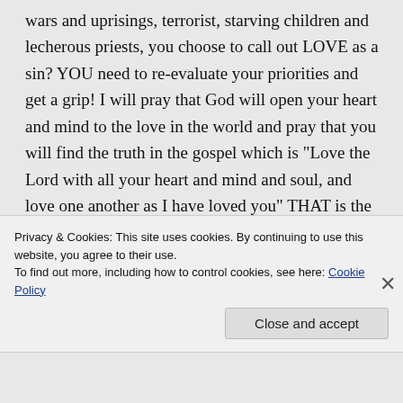wars and uprisings, terrorist, starving children and lecherous priests, you choose to call out LOVE as a sin? YOU need to re-evaluate your priorities and get a grip! I will pray that God will open your heart and mind to the love in the world and pray that you will find the truth in the gospel which is “Love the Lord with all your heart and mind and soul, and love one another as I have loved you” THAT is the word of Christ!
Privacy & Cookies: This site uses cookies. By continuing to use this website, you agree to their use.
To find out more, including how to control cookies, see here: Cookie Policy